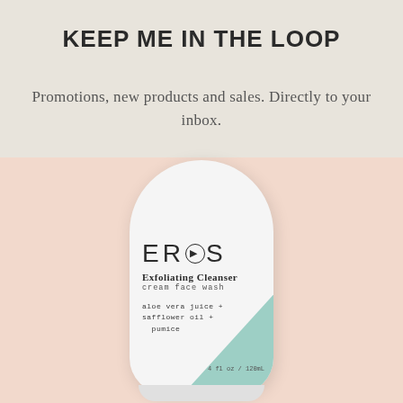KEEP ME IN THE LOOP
Promotions, new products and sales. Directly to your inbox.
[Figure (photo): EROS Exfoliating Cleanser cream face wash bottle, white with teal corner accent, containing aloe vera juice + safflower oil + pumice, 4 fl oz / 120mL, shown on a blush/peach background.]